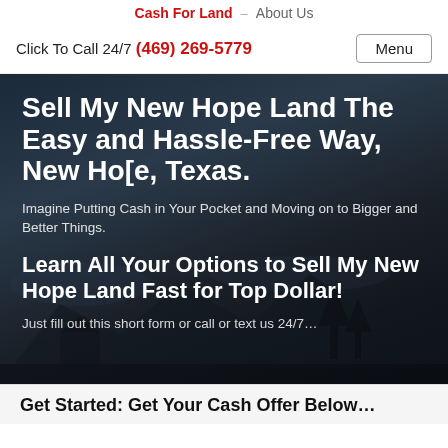Cash For Land   About Us
Click To Call 24/7 (469) 269-5779
Sell My New Hope Land The Easy and Hassle-Free Way, New Ho[e, Texas.
Imagine Putting Cash in Your Pocket and Moving on to Bigger and Better Things.
Learn All Your Options to Sell My New Hope Land Fast for Top Dollar!
Just fill out this short form or call or text us 24/7…
Get Started: Get Your Cash Offer Below…